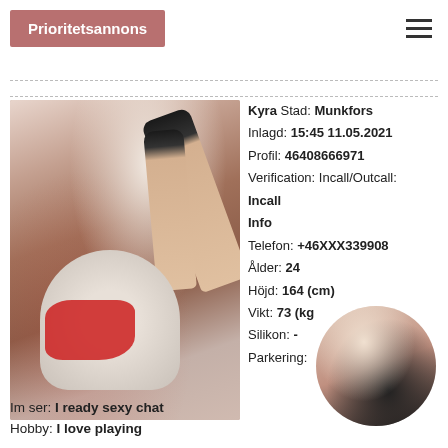Prioritetsannons
[Figure (photo): Woman in red clothing posing in a chair with legs raised, wearing black high heels]
Kyra Stad: Munkfors
Inlagd: 15:45 11.05.2021
Profil: 46408666971
Verification: Incall/Outcall:
Incall
Info
Telefon: +46XXX339908
Ålder: 24
Höjd: 164 (cm)
Vikt: 73 (kg)
Silikon: -
Parkering:
[Figure (photo): Circular thumbnail photo of a blonde woman]
Im ser: I ready sexy chat
Hobby: I love playing